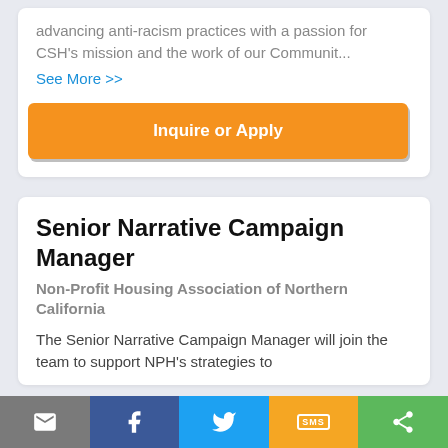advancing anti-racism practices with a passion for CSH's mission and the work of our Communit...
See More >>
Inquire or Apply
Senior Narrative Campaign Manager
Non-Profit Housing Association of Northern California
The Senior Narrative Campaign Manager will join the team to support NPH's strategies to